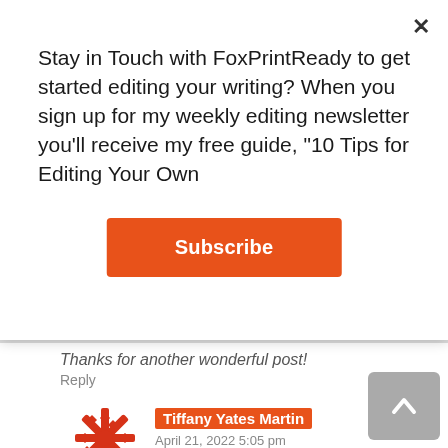Stay in Touch with FoxPrintReady to get started editing your writing? When you sign up for my weekly editing newsletter you'll receive my free guide, "10 Tips for Editing Your Own
Subscribe
Thanks for another wonderful post!
Reply
Tiffany Yates Martin
April 21, 2022 5:05 pm
And another great comment, Maryann…! You illustrate how different each writer's process is, and how important it is to find what works best for you and your writing–and also one of the biggest dangers of groupthink in writing–it can